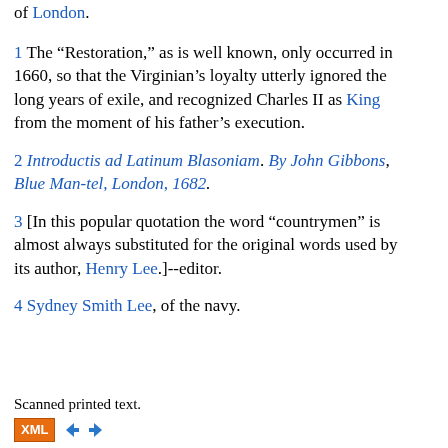of London.
1 The “Restoration,” as is well known, only occurred in 1660, so that the Virginian’s loyalty utterly ignored the long years of exile, and recognized Charles II as King from the moment of his father’s execution.
2 Introductis ad Latinum Blasoniam. By John Gibbons, Blue Man-tel, London, 1682.
3 [In this popular quotation the word “countrymen” is almost always substituted for the original words used by its author, Henry Lee.]--editor.
4 Sydney Smith Lee, of the navy.
Scanned printed text.